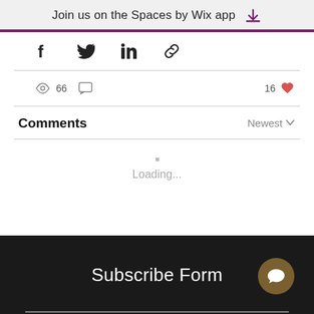Join us on the Spaces by Wix app
[Figure (infographic): Social share icons row: Facebook, Twitter, LinkedIn, link/chain icon]
66 views, 0 comments, 16 likes
Comments
Newest
Loading...
Subscribe Form